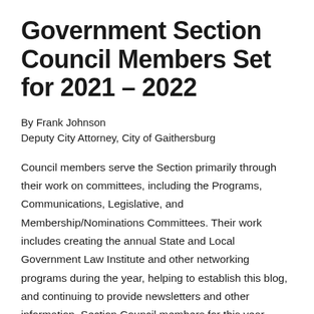Government Section Council Members Set for 2021 – 2022
By Frank Johnson
Deputy City Attorney, City of Gaithersburg
Council members serve the Section primarily through their work on committees, including the Programs, Communications, Legislative, and Membership/Nominations Committees. Their work includes creating the annual State and Local Government Law Institute and other networking programs during the year, helping to establish this blog, and continuing to provide newsletters and other information. Section Council members for this year